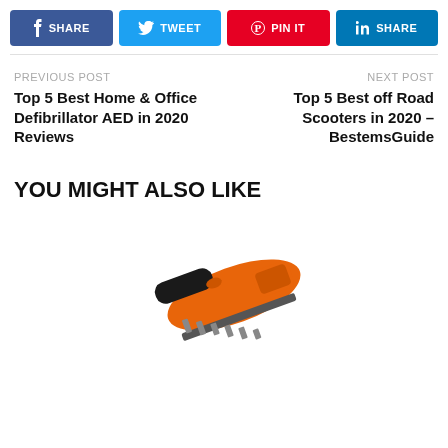[Figure (other): Social share buttons row: Facebook Share (dark blue), Tweet (cyan), Pin It (red), LinkedIn Share (steel blue)]
PREVIOUS POST
Top 5 Best Home & Office Defibrillator AED in 2020 Reviews
NEXT POST
Top 5 Best off Road Scooters in 2020 – BestemsGuide
YOU MIGHT ALSO LIKE
[Figure (photo): Partial photo of an orange BLACK+DECKER cordless hedge trimmer, cropped at bottom of page]